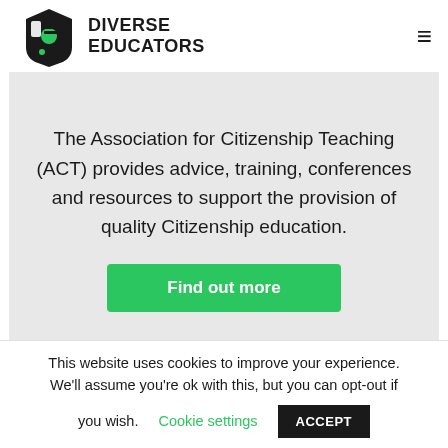DIVERSE EDUCATORS
The Association for Citizenship Teaching (ACT) provides advice, training, conferences and resources to support the provision of quality Citizenship education.
Find out more
This website uses cookies to improve your experience. We'll assume you're ok with this, but you can opt-out if you wish.  Cookie settings  ACCEPT